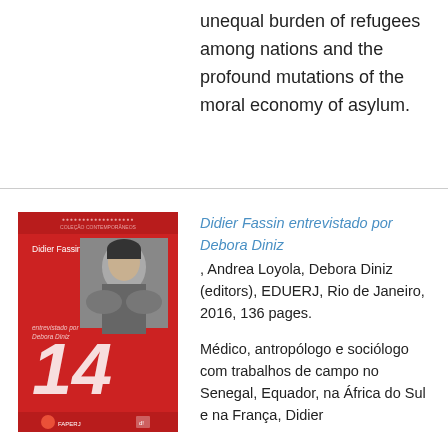unequal burden of refugees among nations and the profound mutations of the moral economy of asylum.
[Figure (photo): Red book cover titled '14' with portrait photo of Didier Fassin. Cover shows publisher logos FAPERJ at bottom. Book is part of a series, with 'Didier Fassin' as author name and 'entrevistado por Debora Diniz' subtitle.]
Didier Fassin entrevistado por Debora Diniz, Andrea Loyola, Debora Diniz (editors), EDUERJ, Rio de Janeiro, 2016, 136 pages.
Médico, antropólogo e sociólogo com trabalhos de campo no Senegal, Equador, na África do Sul e na França, Didier